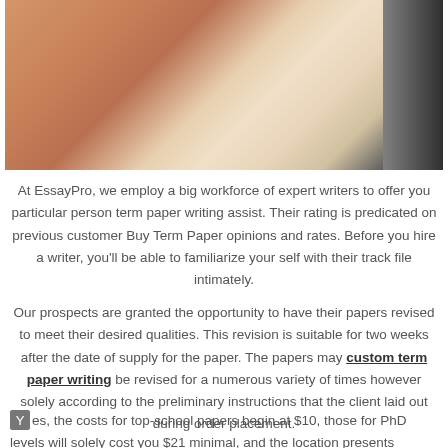[Figure (photo): A hand writing on paper with a pencil, close-up view from above.]
At EssayPro, we employ a big workforce of expert writers to offer you particular person term paper writing assist. Their rating is predicated on previous customer Buy Term Paper opinions and rates. Before you hire a writer, you'll be able to familiarize yourself with their track file intimately.
Our prospects are granted the opportunity to have their papers revised to meet their desired qualities. This revision is suitable for two weeks after the date of supply for the paper. The papers may custom term paper writing be revised for a numerous variety of times however solely according to the preliminary instructions that the client laid out during order placement.
Yes, the costs for top-school papers begin at $10, those for PhD levels will solely cost you $21 minimal, and the location presents